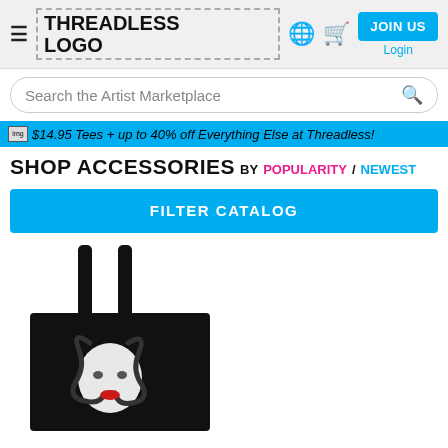Threadless Logo — JOIN US / Login
Search the Artist Marketplace
$14.95 Tees + up to 40% off Everything Else at Threadless!
SHOP ACCESSORIES BY POPULARITY / NEWEST
FILTER CATALOG
[Figure (photo): Black tote bag with illustrated woman and snake design on a white background]